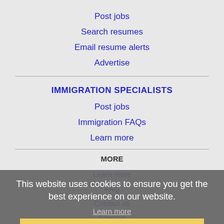Post jobs
Search resumes
Email resume alerts
Advertise
IMMIGRATION SPECIALISTS
Post jobs
Immigration FAQs
Learn more
MORE
Learn more
FAQ
Contact us
Sitemap
Legal
Privacy
This website uses cookies to ensure you get the best experience on our website.
Got it!